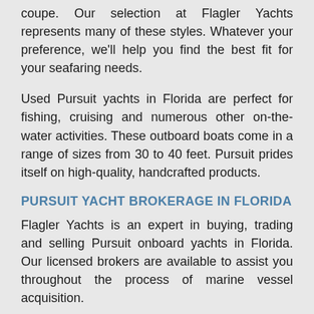coupe. Our selection at Flagler Yachts represents many of these styles. Whatever your preference, we'll help you find the best fit for your seafaring needs.
Used Pursuit yachts in Florida are perfect for fishing, cruising and numerous other on-the-water activities. These outboard boats come in a range of sizes from 30 to 40 feet. Pursuit prides itself on high-quality, handcrafted products.
PURSUIT YACHT BROKERAGE IN FLORIDA
Flagler Yachts is an expert in buying, trading and selling Pursuit onboard yachts in Florida. Our licensed brokers are available to assist you throughout the process of marine vessel acquisition.
If you want to know how to sell your Pursuit boat in Florida, we'll help you price, market and promote your yacht with ease. Use our up-to-date MLS system to